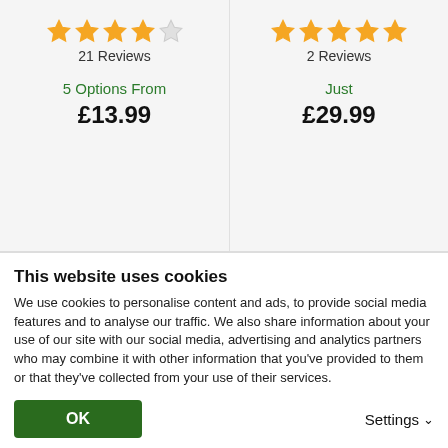21 Reviews
5 Options From £13.99
2 Reviews
Just £29.99
Sign up to the Van Meuwen Gardener's Club for Special Offers
This website uses cookies
We use cookies to personalise content and ads, to provide social media features and to analyse our traffic. We also share information about your use of our site with our social media, advertising and analytics partners who may combine it with other information that you've provided to them or that they've collected from your use of their services.
OK
Settings